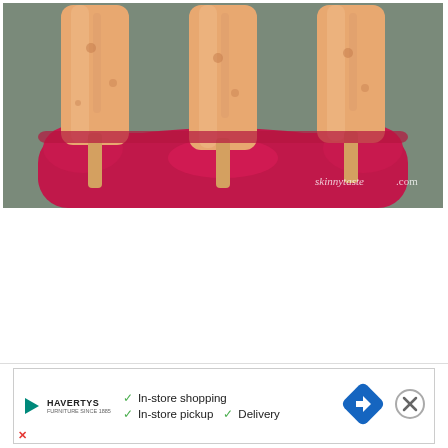[Figure (photo): Close-up photo of orange/peach colored popsicles/ice pops in a red popsicle mold/holder, with a watermark reading 'skinnytaste.com' in the lower right of the image.]
[Figure (infographic): Advertisement banner for Havertys furniture store showing logo, checkmarks for 'In-store shopping', 'In-store pickup', 'Delivery', a navigation/directions icon, and a close button.]